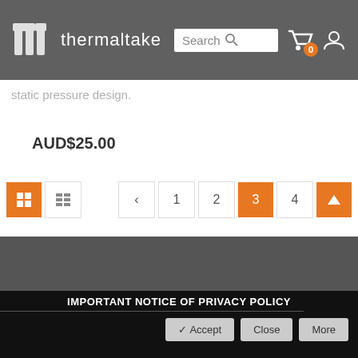thermaltake
static pressure design.
AUD$25.00
[Figure (screenshot): Pagination controls with view toggle buttons (grid and list view), navigation arrows, page numbers 1, 2, 3 (current, highlighted orange), 4, and an up arrow button]
IMPORTANT NOTICE OF PRIVACY POLICY